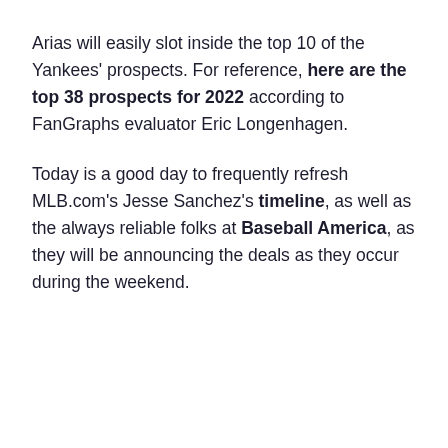Arias will easily slot inside the top 10 of the Yankees' prospects. For reference, here are the top 38 prospects for 2022 according to FanGraphs evaluator Eric Longenhagen.
Today is a good day to frequently refresh MLB.com's Jesse Sanchez's timeline, as well as the always reliable folks at Baseball America, as they will be announcing the deals as they occur during the weekend.